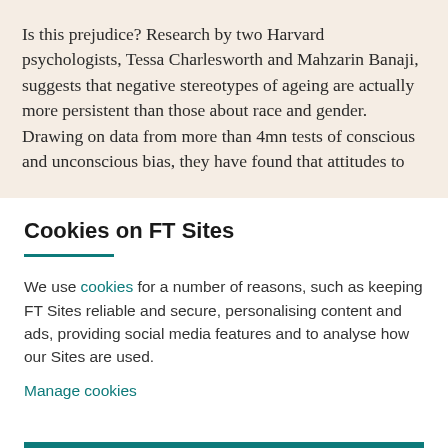Is this prejudice? Research by two Harvard psychologists, Tessa Charlesworth and Mahzarin Banaji, suggests that negative stereotypes of ageing are actually more persistent than those about race and gender. Drawing on data from more than 4mn tests of conscious and unconscious bias, they have found that attitudes to
Cookies on FT Sites
We use cookies for a number of reasons, such as keeping FT Sites reliable and secure, personalising content and ads, providing social media features and to analyse how our Sites are used.
Manage cookies
Accept & continue